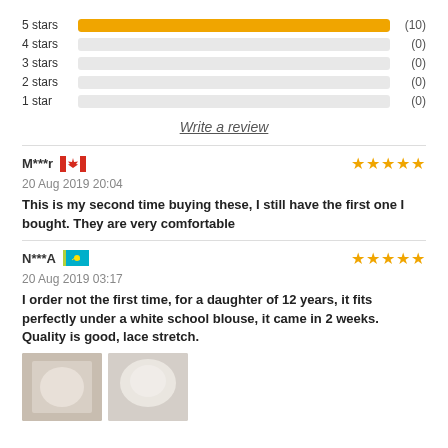[Figure (bar-chart): Star ratings]
Write a review
M***r  20 Aug 2019 20:04  This is my second time buying these, I still have the first one I bought. They are very comfortable
N***A  20 Aug 2019 03:17  I order not the first time, for a daughter of 12 years, it fits perfectly under a white school blouse, it came in 2 weeks. Quality is good, lace stretch.
[Figure (photo): Two product review photos showing white lace garment]